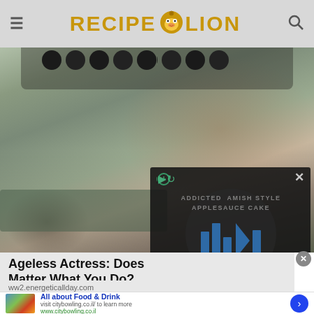RECIPE LION
[Figure (photo): Woman doing yoga/exercise pose in a gym with weights in background, overlaid with a video popup showing 'ADDICTED AMISH STYLE APPLESAUCE CAKE' text with blue play bars, sound and close controls]
Ageless Actress: Does Matter What You Do?
ww2.energeticallday.com
All about Food & Drink
visit citybowling.co.il/ to learn more
www.citybowling.co.il